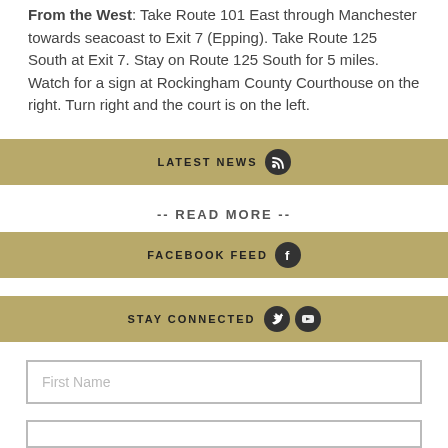From the West: Take Route 101 East through Manchester towards seacoast to Exit 7 (Epping). Take Route 125 South at Exit 7. Stay on Route 125 South for 5 miles. Watch for a sign at Rockingham County Courthouse on the right. Turn right and the court is on the left.
LATEST NEWS
-- READ MORE --
FACEBOOK FEED
STAY CONNECTED
First Name